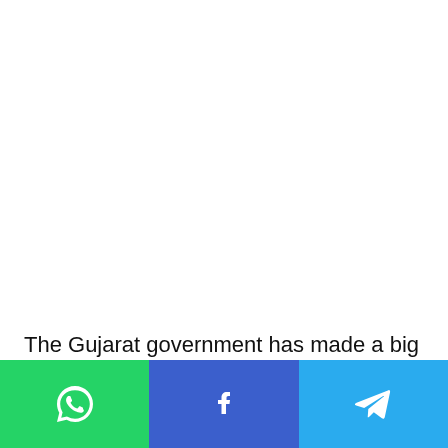The Gujarat government has made a big announcement for the farmers who are suffering due to heavy rains
[Figure (other): Social share bar with WhatsApp, Facebook, and Telegram buttons]